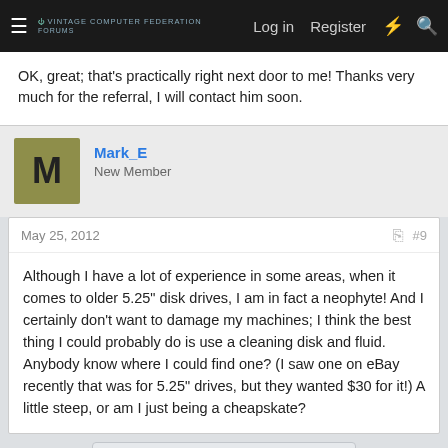≡  [Forum Logo]  Log in   Register  ⚡  🔍
OK, great; that's practically right next door to me! Thanks very much for the referral, I will contact him soon.
Mark_E
New Member
May 25, 2012   #9
Although I have a lot of experience in some areas, when it comes to older 5.25" disk drives, I am in fact a neophyte! And I certainly don't want to damage my machines; I think the best thing I could probably do is use a cleaning disk and fluid. Anybody know where I could find one? (I saw one on eBay recently that was for 5.25" drives, but they wanted $30 for it!) A little steep, or am I just being a cheapskate?
You must log in or register to reply here.